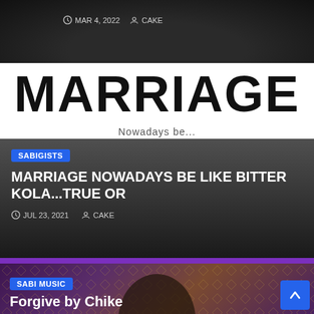[Figure (photo): Dark background image, article card top showing date and author metadata. MAR 4, 2022 and CAKE.]
MAR 4, 2022   CAKE
[Figure (photo): White card with large bold MARRIAGE text and overlaid article card with SABIGISTS badge and headline MARRIAGE NOWADAYS BE LIKE BITTER KOLA...TRUE OR]
MARRIAGE
SABIGISTS
MARRIAGE NOWADAYS BE LIKE BITTER KOLA...TRUE OR
JUL 23, 2021   CAKE
[Figure (photo): Bottom card showing a man wearing a crown and ornate jacket against a decorative purple/gold background with SABI MUSIC badge and headline Forgive by Chike]
SABI MUSIC
Forgive by Chike